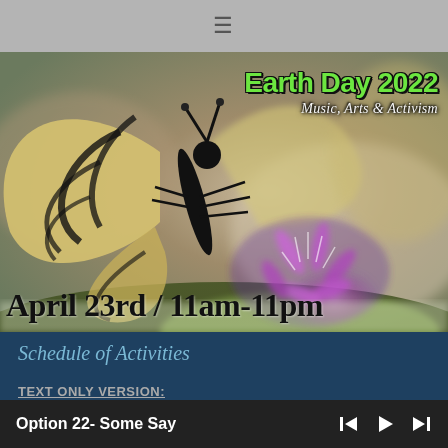[Figure (screenshot): Top gray navigation bar with hamburger menu icon]
[Figure (photo): Close-up photo of a swallowtail butterfly on a purple flower with bokeh background. Overlaid text reads 'Earth Day 2022 Music, Arts & Activism' in the upper right and 'April 23rd / 11am-11pm' at the bottom.]
Earth Day 2022
Music, Arts & Activism
April 23rd / 11am-11pm
Schedule of Activities
TEXT ONLY VERSION:
Option 22- Some Say